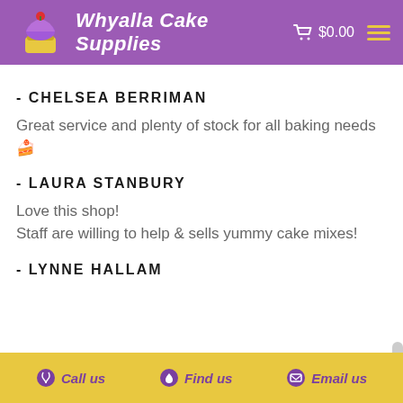Whyalla Cake Supplies  $0.00
- CHELSEA BERRIMAN
Great service and plenty of stock for all baking needs 🍰
- LAURA STANBURY
Love this shop!
Staff are willing to help & sells yummy cake mixes!
- LYNNE HALLAM
Call us   Find us   Email us